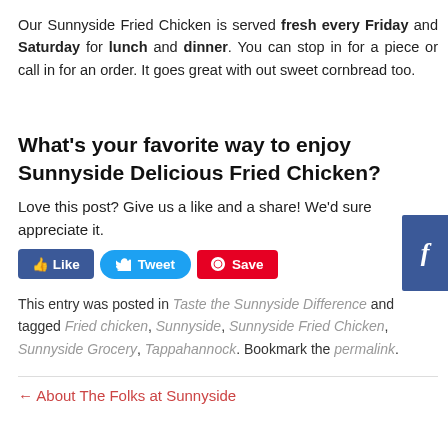Our Sunnyside Fried Chicken is served fresh every Friday and Saturday for lunch and dinner. You can stop in for a piece or call in for an order. It goes great with out sweet cornbread too.
What's your favorite way to enjoy Sunnyside Delicious Fried Chicken?
Love this post? Give us a like and a share! We'd sure appreciate it.
[Figure (other): Social sharing buttons: Like, Share, Tweet, Save]
This entry was posted in Taste the Sunnyside Difference and tagged Fried chicken, Sunnyside, Sunnyside Fried Chicken, Sunnyside Grocery, Tappahannock. Bookmark the permalink.
← About The Folks at Sunnyside